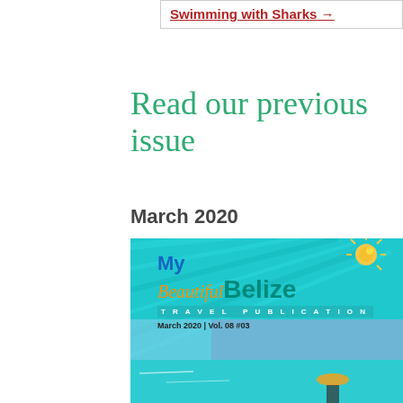Swimming with Sharks →
Read our previous issue
March 2020
[Figure (photo): Cover of My Beautiful Belize Travel Publication, March 2020, Vol. 08 #03, showing a tropical ocean scene with a person in a hat on a boat, turquoise water and blue sky, with the colorful magazine logo.]